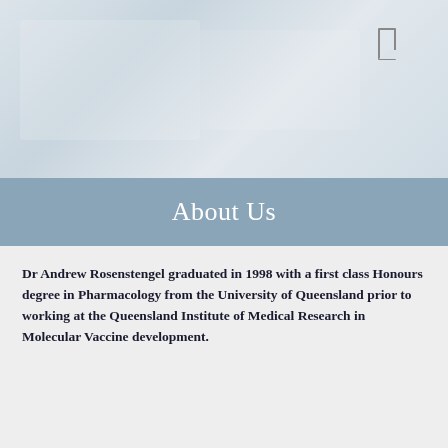[Figure (photo): Background image area showing a light blue-grey tinted photograph, partially visible, with a small bookmark/rectangle icon in the upper right corner]
About Us
Dr Andrew Rosenstengel graduated in 1998 with a first class Honours degree in Pharmacology from the University of Queensland prior to working at the Queensland Institute of Medical Research in Molecular Vaccine development.